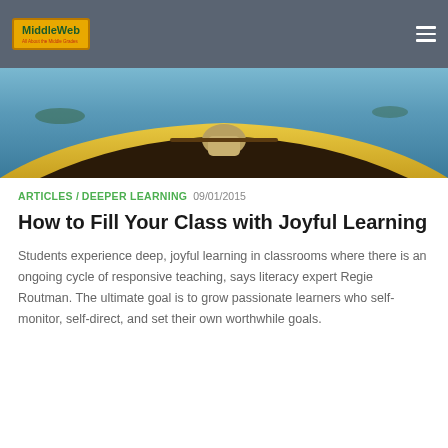MiddleWeb
[Figure (photo): View from inside a yellow canoe looking forward over water, from a first-person perspective]
ARTICLES / DEEPER LEARNING 09/01/2015
How to Fill Your Class with Joyful Learning
Students experience deep, joyful learning in classrooms where there is an ongoing cycle of responsive teaching, says literacy expert Regie Routman. The ultimate goal is to grow passionate learners who self-monitor, self-direct, and set their own worthwhile goals.